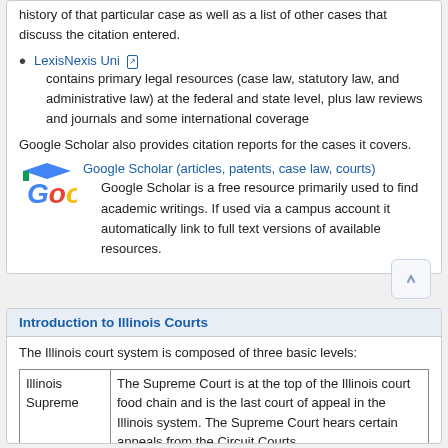history of that particular case as well as a list of other cases that discuss the citation entered.
LexisNexis Uni — contains primary legal resources (case law, statutory law, and administrative law) at the federal and state level, plus law reviews and journals and some international coverage
Google Scholar also provides citation reports for the cases it covers.
[Figure (logo): Google Scholar logo with graduation cap on the G]
Google Scholar (articles, patents, case law, courts) — Google Scholar is a free resource primarily used to find academic writings. If used via a campus account it automatically link to full text versions of available resources.
Introduction to Illinois Courts
The Illinois court system is composed of three basic levels:
|  |  |
| --- | --- |
| Illinois
Supreme | The Supreme Court is at the top of the Illinois court food chain and is the last court of appeal in the Illinois system. The Supreme Court hears certain appeals from the Circuit Courts |